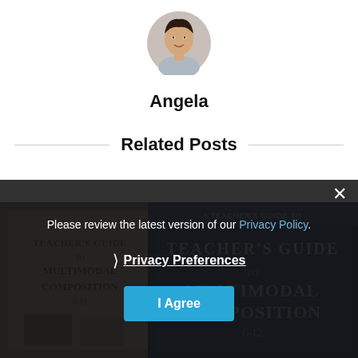[Figure (photo): Circular avatar photo of a woman named Angela, cropped to a circle]
Angela
Related Posts
[Figure (photo): Two book cover images of "A Teacher's Guide to Multimodal Composition 6-12" visible at the bottom of the page, partially obscured by a privacy consent overlay]
Please review the latest version of our Privacy Policy.
❯ Privacy Preferences
I Agree